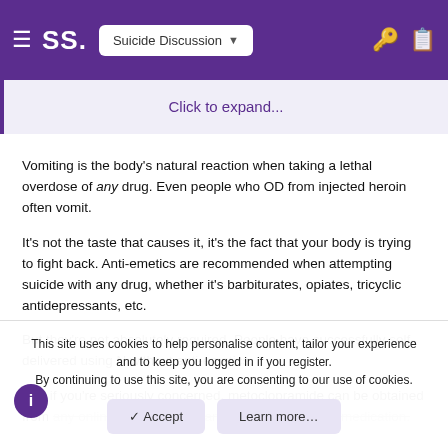SS. Suicide Discussion
Click to expand...
Vomiting is the body's natural reaction when taking a lethal overdose of any drug. Even people who OD from injected heroin often vomit.
It's not the taste that causes it, it's the fact that your body is trying to fight back. Anti-emetics are recommended when attempting suicide with any drug, whether it's barbiturates, opiates, tricyclic antidepressants, etc.
But they're not absolutely required. People have successfully self-delivered using N without anti-emetics.
And if you're seriously concerned, metoclopramide can be obtained from any online pharmacy. It's an extremely common medication.
This site uses cookies to help personalise content, tailor your experience and to keep you logged in if you register.
By continuing to use this site, you are consenting to our use of cookies.